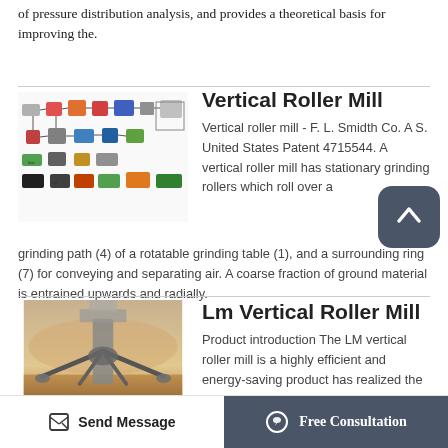of pressure distribution analysis, and provides a theoretical basis for improving the.
Vertical Roller Mill
[Figure (schematic): Flow diagram schematic of a vertical roller mill system showing various components connected by lines, including crushers, conveyors, separators, and other equipment depicted in color.]
Vertical roller mill - F. L. Smidth Co. A S. United States Patent 4715544. A vertical roller mill has stationary grinding rollers which roll over a grinding path (4) of a rotatable grinding table (1), and a surrounding ring (7) for conveying and separating air. A coarse fraction of ground material is entrained upwards and radially.
Lm Vertical Roller Mill
[Figure (photo): Photograph of an outdoor industrial LM vertical roller mill installation against a hazy sky, showing the mill structure and surrounding construction.]
Product introduction The LM vertical roller mill is a highly efficient and energy-saving product has realized the
Send Message | Free Consultation